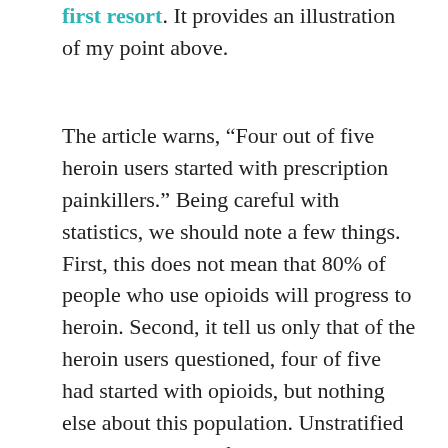first resort. It provides an illustration of my point above.
The article warns, “Four out of five heroin users started with prescription painkillers.” Being careful with statistics, we should note a few things. First, this does not mean that 80% of people who use opioids will progress to heroin. Second, it tell us only that of the heroin users questioned, four of five had started with opioids, but nothing else about this population. Unstratified data is seldom useful data. Third, it does not mean that opioids were the cause of the heroin addiction. People become drug addicts not simply by exposure to drugs, but due to a variety of biological, psychological, social and